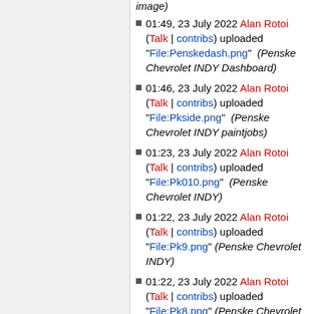image)
01:49, 23 July 2022 Alan Rotoi (Talk | contribs) uploaded "File:Penskedash.png" (Penske Chevrolet INDY Dashboard)
01:46, 23 July 2022 Alan Rotoi (Talk | contribs) uploaded "File:Pkside.png" (Penske Chevrolet INDY paintjobs)
01:23, 23 July 2022 Alan Rotoi (Talk | contribs) uploaded "File:Pk010.png" (Penske Chevrolet INDY)
01:22, 23 July 2022 Alan Rotoi (Talk | contribs) uploaded "File:Pk9.png" (Penske Chevrolet INDY)
01:22, 23 July 2022 Alan Rotoi (Talk | contribs) uploaded "File:Pk8.png" (Penske Chevrolet INDY)
01:22, 23 July 2022 Alan Rotoi (Talk | contribs) uploaded "File:Pk7.png"